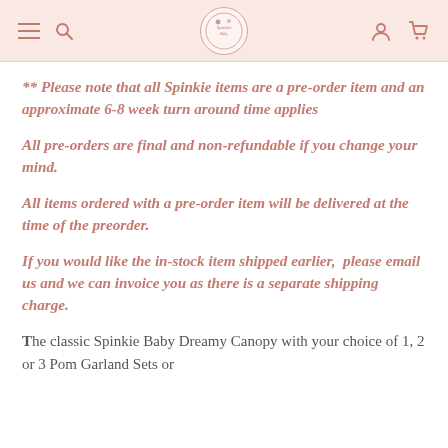Navigation header with menu, logo, user and cart icons
** Please note that all Spinkie items are a pre-order item and an approximate 6-8 week turn around time applies
All pre-orders are final and non-refundable if you change your mind.
All items ordered with a pre-order item will be delivered at the time of the preorder.
If you would like the in-stock item shipped earlier,  please email us and we can invoice you as there is a separate shipping charge.
The classic Spinkie Baby Dreamy Canopy with your choice of 1, 2 or 3 Pom Garland Sets or